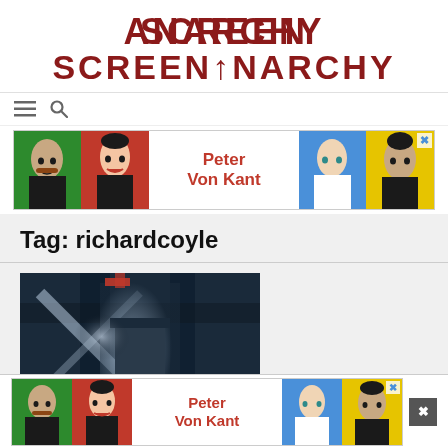SCREENANARCHY
[Figure (screenshot): Navigation bar with hamburger menu icon and search icon on white background]
[Figure (infographic): Advertisement banner for Peter Von Kant movie featuring pop-art style portrait collage with men and women in bold colors (green, red, yellow) and large red text 'Peter Von Kant' in center. Blue X close button top right.]
Tag: richardcoyle
[Figure (photo): Dark atmospheric movie poster or promotional image showing a figure with glowing/light effects in dark blue and grey tones]
[Figure (infographic): Bottom advertisement banner for Peter Von Kant movie - same pop-art style portrait collage with bold colors, red text 'Peter Von Kant'. Blue X close button. Dark close button on far right.]